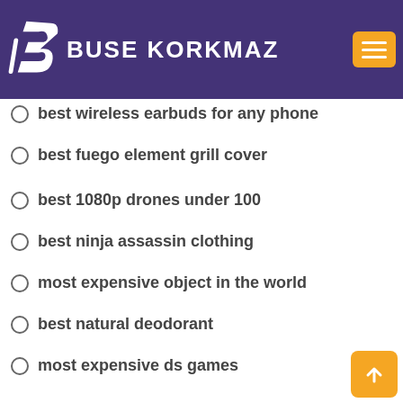BUSE KORKMAZ
best wireless earbuds for any phone
best fuego element grill cover
best 1080p drones under 100
best ninja assassin clothing
most expensive object in the world
best natural deodorant
most expensive ds games
best amplifier for definitive technology speakers
best internal hard drives for audio recording
best point & shoot camera with zoom